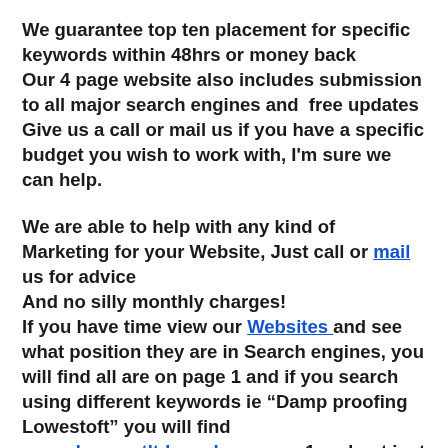We guarantee top ten placement for specific keywords within 48hrs or money back
Our 4 page website also includes submission to all major search engines and  free updates
Give us a call or mail us if you have a specific budget you wish to work with, I'm sure we can help.
We are able to help with any kind of Marketing for your Website, Just call or mail us for advice
And no silly monthly charges!
If you have time view our Websites and see what position they are in Search engines, you will find all are on page 1 and if you search using different keywords ie “Damp proofing Lowestoft” you will find www.dampoutltd.co.uk on page 1 and not just